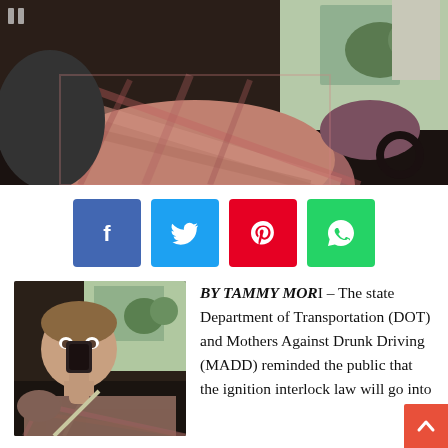[Figure (photo): A person in a plaid shirt sitting in a car, viewed from inside the vehicle]
[Figure (infographic): Social media share buttons: Facebook (blue), Twitter (light blue), Pinterest (red), WhatsApp (green)]
[Figure (photo): A man blowing into an ignition interlock device while seated in a car]
BY TAMMY MORI – The state Department of Transportation (DOT) and Mothers Against Drunk Driving (MADD) reminded the public that the ignition interlock law will go into effect beginning 12:01 a.m. on January 1, 2011 at a news